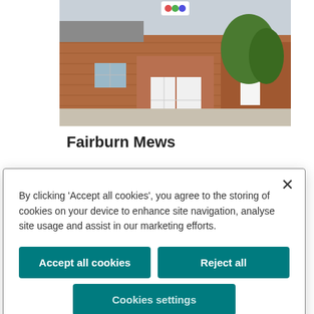[Figure (photo): Exterior photo of Fairburn Mews building, a brick building with white doors and greenery]
Fairburn Mews
Wheldon Road
Castleford
WF10 3RY
By clicking 'Accept all cookies', you agree to the storing of cookies on your device to enhance site navigation, analyse site usage and assist in our marketing efforts.
Accept all cookies
Reject all
Cookies settings